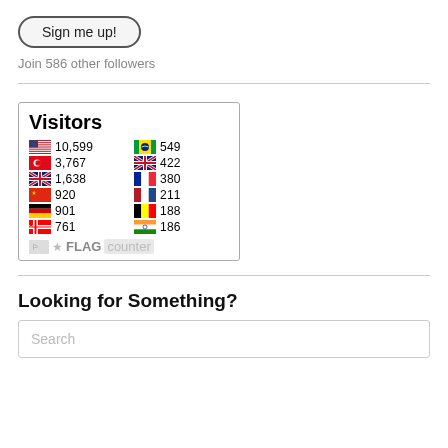[Figure (other): Sign me up! button with rounded rectangle border]
Join 586 other followers
[Figure (infographic): Flag counter widget showing Visitors count by country: US 10,599; Turkey 3,767; UK 1,638; China 920; Germany 901; Canada 761; Brazil 549; Australia 422; France 380; Netherlands 211; Belgium 188; India 186]
Looking for Something?
[Figure (other): Search input box with placeholder text 'Search']